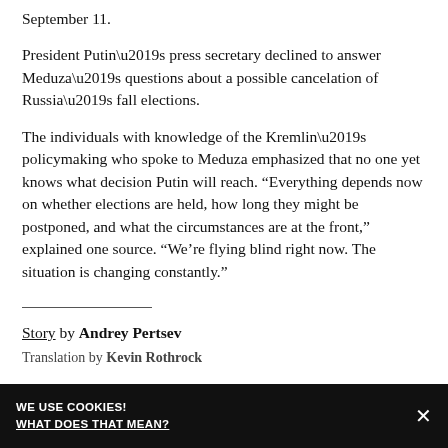September 11.
President Putin’s press secretary declined to answer Meduza’s questions about a possible cancelation of Russia’s fall elections.
The individuals with knowledge of the Kremlin’s policymaking who spoke to Meduza emphasized that no one yet knows what decision Putin will reach. “Everything depends now on whether elections are held, how long they might be postponed, and what the circumstances are at the front,” explained one source. “We’re flying blind right now. The situation is changing constantly.”
Story by Andrey Pertsev
Translation by Kevin Rothrock
WE USE COOKIES! WHAT DOES THAT MEAN?